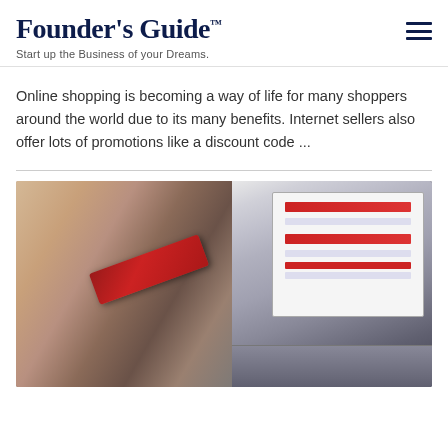Founder's Guide™ — Start up the Business of your Dreams.
Online shopping is becoming a way of life for many shoppers around the world due to its many benefits. Internet sellers also offer lots of promotions like a discount code ...
[Figure (photo): A hand holding a red credit card in front of a laptop displaying an online shopping website. The scene is photographed on a desk, with blurred laptop screen showing product listings.]